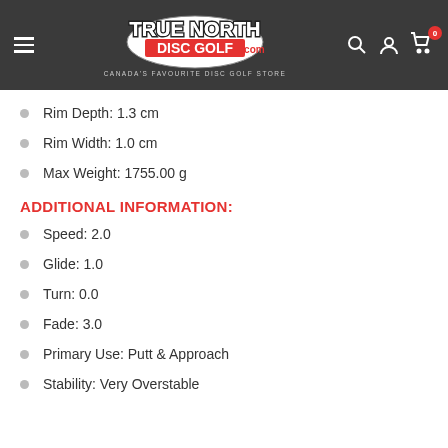TRUE NORTH DISC GOLF.com — CANADA'S FAVOURITE DISC GOLF STORE
Rim Depth: 1.3 cm
Rim Width: 1.0 cm
Max Weight: 1755.00 g
ADDITIONAL INFORMATION:
Speed: 2.0
Glide: 1.0
Turn: 0.0
Fade: 3.0
Primary Use: Putt & Approach
Stability: Very Overstable